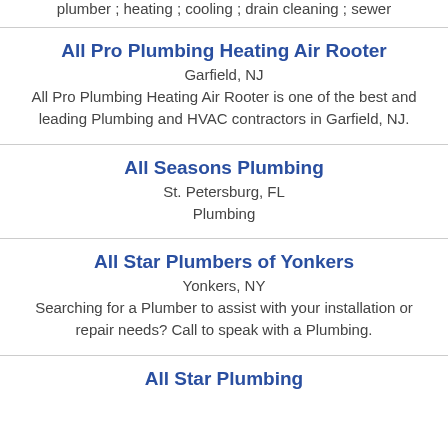plumber ; heating ; cooling ; drain cleaning ; sewer
All Pro Plumbing Heating Air Rooter
Garfield, NJ
All Pro Plumbing Heating Air Rooter is one of the best and leading Plumbing and HVAC contractors in Garfield, NJ.
All Seasons Plumbing
St. Petersburg, FL
Plumbing
All Star Plumbers of Yonkers
Yonkers, NY
Searching for a Plumber to assist with your installation or repair needs? Call to speak with a Plumbing.
All Star Plumbing